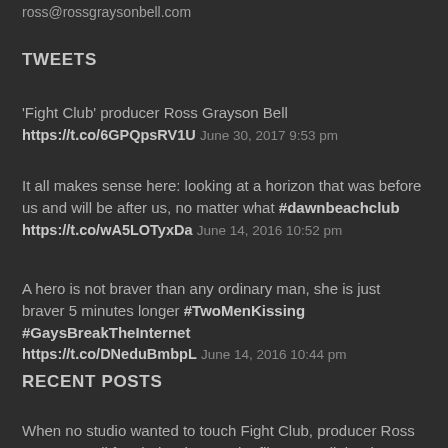ross@rossgraysonbell.com
TWEETS
'Fight Club' producer Ross Grayson Bell https://t.co/6GPQpsRV1U June 30, 2017 9:53 pm
It all makes sense here: looking at a horizon that was before us and will be after us, no matter what #dawnbeachclub https://t.co/wA5LOTyxDa June 14, 2016 10:52 pm
A hero is not braver than any ordinary man, she is just braver 5 minutes longer #TwoMenKissing #GaysBreakTheInternet https://t.co/DNeduBmbpL June 14, 2016 10:44 pm
RECENT POSTS
When no studio wanted to touch Fight Club, producer Ross Grayson Bell fought hard to get the film green-lighted. Now, he's back home in Australia and pulling a new purchase with budding...